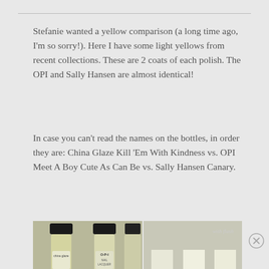Stefanie wanted a yellow comparison (a long time ago, I'm so sorry!). Here I have some light yellows from recent collections. These are 2 coats of each polish. The OPI and Sally Hansen are almost identical!
In case you can't read the names on the bottles, in order they are: China Glaze Kill 'Em With Kindness vs. OPI Meet A Boy Cute As Can Be vs. Sally Hansen Canary.
[Figure (photo): Two nail polish bottles (China Glaze and OPI) on the left side, and nail swatches with 'with flash' label on the right side.]
Advertisements